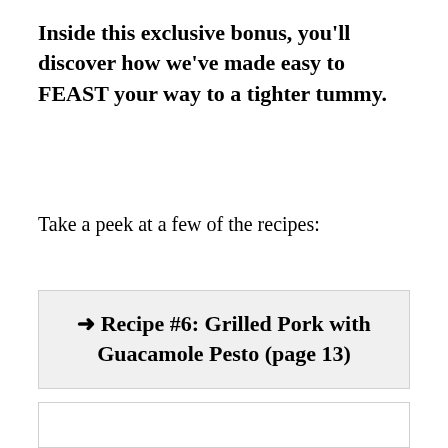Inside this exclusive bonus, you'll discover how we've made easy to FEAST your way to a tighter tummy.
Take a peek at a few of the recipes:
➜ Recipe #6: Grilled Pork with Guacamole Pesto (page 13)